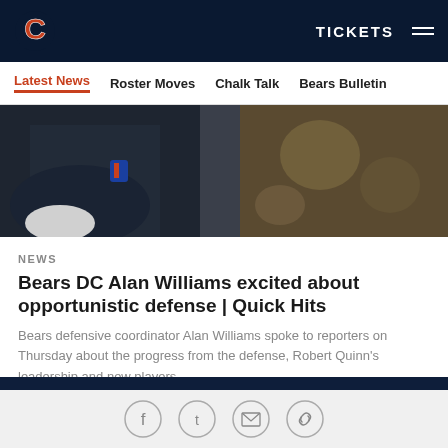Chicago Bears — TICKETS
Latest News | Roster Moves | Chalk Talk | Bears Bulletin
[Figure (photo): Close-up photo of a person in a dark navy NFL jacket, outdoor sports setting]
NEWS
Bears DC Alan Williams excited about opportunistic defense | Quick Hits
Bears defensive coordinator Alan Williams spoke to reporters on Thursday about the progress from the defense, Robert Quinn's leadership and new players.
[Figure (photo): Photo of a person at a press conference with Chicago Bears branded backdrop showing C logo and Hyundai sponsor logos]
[Figure (infographic): Social sharing icons: Facebook, Twitter, Email, and a chain/link icon]